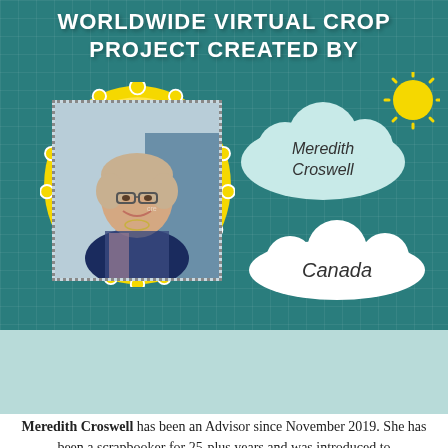WORLDWIDE VIRTUAL CROP PROJECT CREATED BY
[Figure (photo): Portrait photo of Meredith Croswell with decorative yellow doily frame on teal background, with cloud graphics showing name 'Meredith Croswell' and country 'Canada', sun graphic, and four country flags (Canada, Australia, USA, Japan) plus Creative Memories logo]
Meredith Croswell has been an Advisor since November 2019. She has been a scrapbooker for 25-plus years and was introduced to scrapbooking